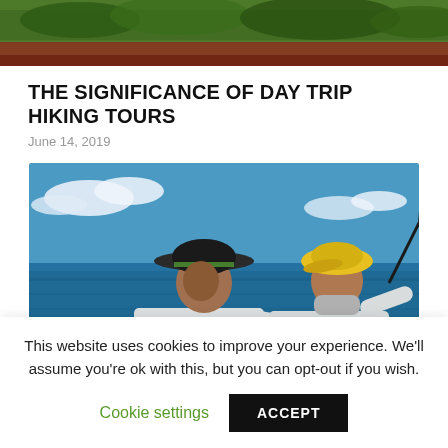[Figure (photo): Top partial image showing green foliage and reddish-brown tones, cropped at top of page]
THE SIGNIFICANCE OF DAY TRIP HIKING TOURS
June 14, 2019
[Figure (photo): Two people wearing white long-sleeve fishing shirts standing on a boat with fishing rods, blue ocean in background, one wearing a dark wide-brim hat, the other wearing a yellow cap]
This website uses cookies to improve your experience. We'll assume you're ok with this, but you can opt-out if you wish.
Cookie settings
ACCEPT